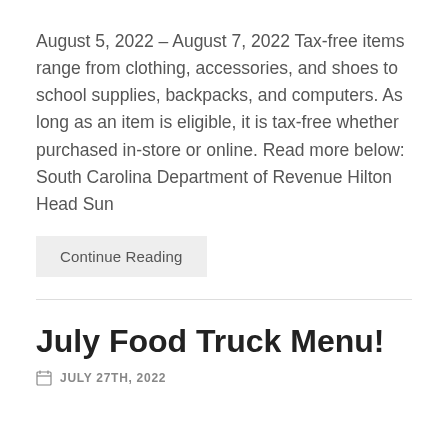August 5, 2022 – August 7, 2022 Tax-free items range from clothing, accessories, and shoes to school supplies, backpacks, and computers. As long as an item is eligible, it is tax-free whether purchased in-store or online. Read more below: South Carolina Department of Revenue Hilton Head Sun
Continue Reading
July Food Truck Menu!
JULY 27TH, 2022